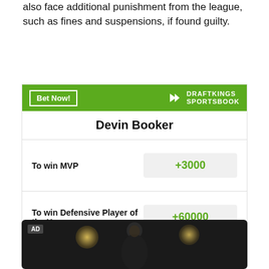also face additional punishment from the league, such as fines and suspensions, if found guilty.
[Figure (other): DraftKings Sportsbook betting widget for Devin Booker showing odds: To win MVP +3000, To win Defensive Player of the Year +60000. Green header with 'Bet Now!' button and DraftKings Sportsbook logo. Footer: 'Odds/Lines subject to change. See draftkings.com for details.']
[Figure (photo): AD label with a dark photo of a basketball player (likely Devin Booker) with bokeh lights in background]